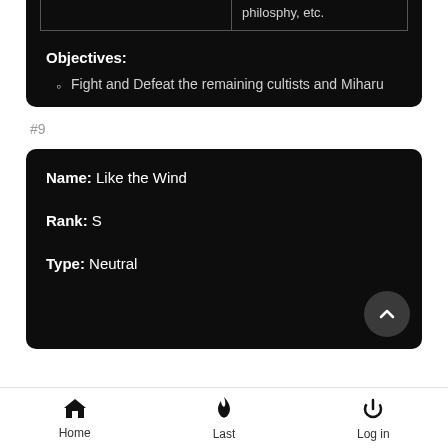|  | philosphy, etc. |
Objectives:
Fight and Defeat the remaining cultists and Miharu
#9
Name: Like the Wind
Rank: S
Type: Neutral
Home  Last  Log in